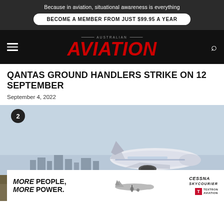Because in aviation, situational awareness is everything
BECOME A MEMBER FROM JUST $99.95 A YEAR
AUSTRALIAN AVIATION
QANTAS GROUND HANDLERS STRIKE ON 12 SEPTEMBER
September 4, 2022
[Figure (photo): A commercial aircraft (appears to be a Qantas Boeing 737) on the runway or taxiway with a city skyline in the background. Number badge '2' is shown in the upper left corner of the image. An advertisement overlay for Cessna SkyCourier / Textron Aviation reading 'MORE PEOPLE. MORE POWER.' is displayed at the bottom of the image.]